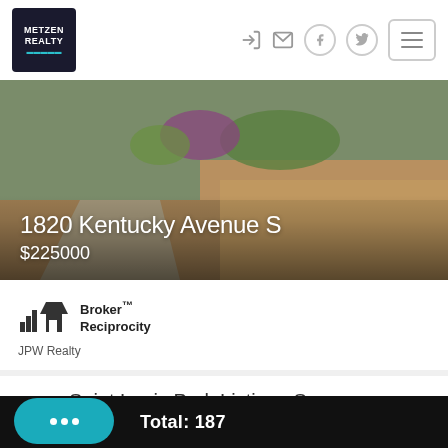[Figure (logo): Metzen Realty logo — dark background with house icon and teal accent text]
[Figure (photo): Exterior aerial/ground view of property at 1820 Kentucky Avenue S showing driveway, garden, and dry lawn]
1820 Kentucky Avenue S
$225000
[Figure (logo): Broker Reciprocity logo with house icon]
JPW Realty
Saint Louis Park Listings Summary
Total: 187